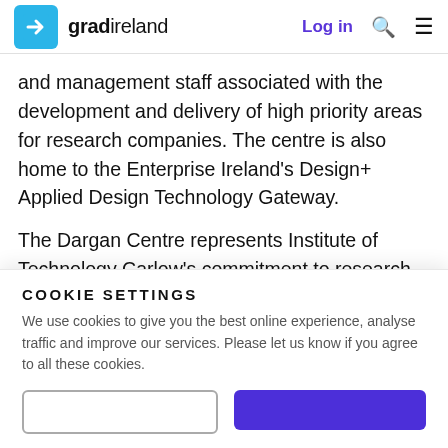gradireland | Log in
and management staff associated with the development and delivery of high priority areas for research companies. The centre is also home to the Enterprise Ireland's Design+ Applied Design Technology Gateway.
The Dargan Centre represents Institute of Technology Carlow's commitment to research, development and innovation in the region through the development of collaborations with industry
COOKIE SETTINGS
We use cookies to give you the best online experience, analyse traffic and improve our services. Please let us know if you agree to all these cookies.